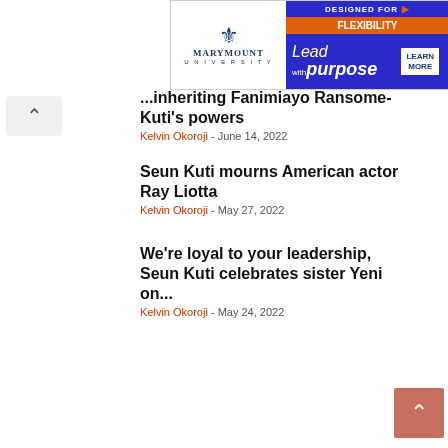[Figure (screenshot): Marymount University advertisement banner with fleur-de-lis logo, 'Lead with purpose' tagline, and 'Learn More' button on blue and orange background]
...inheriting Fanimiayo Ransome-Kuti's powers
Kelvin Okoroji - June 14, 2022
Seun Kuti mourns American actor Ray Liotta
Kelvin Okoroji - May 27, 2022
We're loyal to your leadership, Seun Kuti celebrates sister Yeni on...
Kelvin Okoroji - May 24, 2022